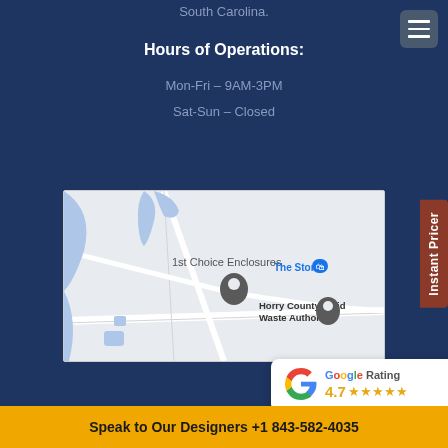South Carolina.
Hours of Operations:
Mon-Fri – 9AM-3PM
Sat-Sun – Closed
[Figure (map): Google Maps showing location of 1st Choice Enclosures, near The Store and Horry County Solid Waste Authority]
[Figure (other): Google Rating badge showing 4.7 stars]
Instant Pricer
Speak to Our Designers +1 843-582-4035